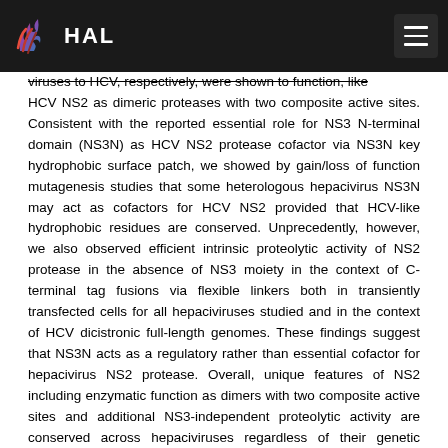HAL
viruses to HCV, respectively, were shown to function, like HCV NS2 as dimeric proteases with two composite active sites. Consistent with the reported essential role for NS3 N-terminal domain (NS3N) as HCV NS2 protease cofactor via NS3N key hydrophobic surface patch, we showed by gain/loss of function mutagenesis studies that some heterologous hepacivirus NS3N may act as cofactors for HCV NS2 provided that HCV-like hydrophobic residues are conserved. Unprecedently, however, we also observed efficient intrinsic proteolytic activity of NS2 protease in the absence of NS3 moiety in the context of C-terminal tag fusions via flexible linkers both in transiently transfected cells for all hepaciviruses studied and in the context of HCV dicistronic full-length genomes. These findings suggest that NS3N acts as a regulatory rather than essential cofactor for hepacivirus NS2 protease. Overall, unique features of NS2 including enzymatic function as dimers with two composite active sites and additional NS3-independent proteolytic activity are conserved across hepaciviruses regardless of their genetic distances, highlighting their functional significance in hepaciviruses life cycle.